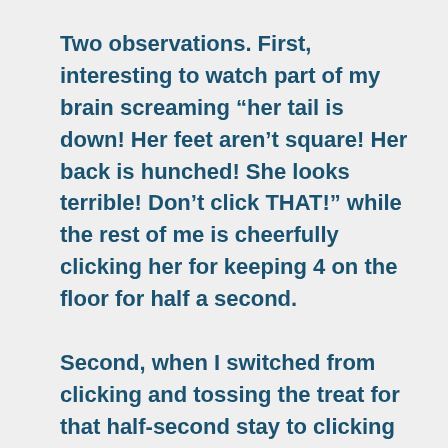Two observations. First, interesting to watch part of my brain screaming “her tail is down! Her feet aren’t square! Her back is hunched! She looks terrible! Don’t click THAT!” while the rest of me is cheerfully clicking her for keeping 4 on the floor for half a second.

Second, when I switched from clicking and tossing the treat for that half-second stay to clicking and